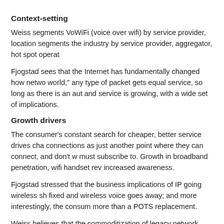Context-setting
Weiss segments VoWiFi (voice over wifi) by service provider, location segments the industry by service provider, aggregator, hot spot operat
Fjogstad sees that the Internet has fundamentally changed how netwo world," any type of packet gets equal service, so long as there is an aut and service is growing, with a wide set of implications.
Growth drivers
The consumer's constant search for cheaper, better service drives cha connections as just another point where they can connect, and don't w must subscribe to. Growth in broadband penetration, wifi handset rev increased awareness.
Fjogstad stressed that the business implications of IP going wireless sh fixed and wireless voice goes away; and more interestingly, the consum more than a POTS replacement.
Weiss believes that the commoditization of legacy network infrastruc result, the carriers are converging, and providing multiple access tech reduce churn from their network. As an access technology, WiFi acco